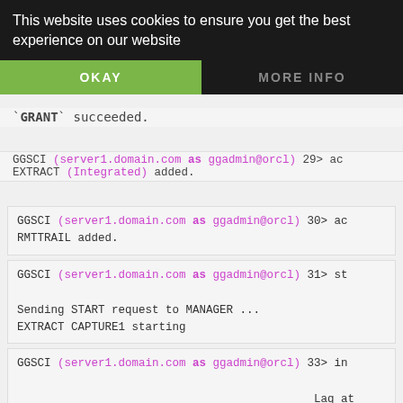This website uses cookies to ensure you get the best experience on our website
OKAY
MORE INFO
`GRANT` succeeded.
On source system:
GGSCI (server1.domain.com as ggadmin@orcl) 29> ac
EXTRACT (Integrated) added.
GGSCI (server1.domain.com as ggadmin@orcl) 30> ac
RMTTRAIL added.
GGSCI (server1.domain.com as ggadmin@orcl) 31> st

Sending START request to MANAGER ...
EXTRACT CAPTURE1 starting
GGSCI (server1.domain.com as ggadmin@orcl) 33> in

Program      Status       Group        Lag at Chkpt

MANAGER      RUNNING
EXTRACT      RUNNING      CAPTURE1     00:00:10